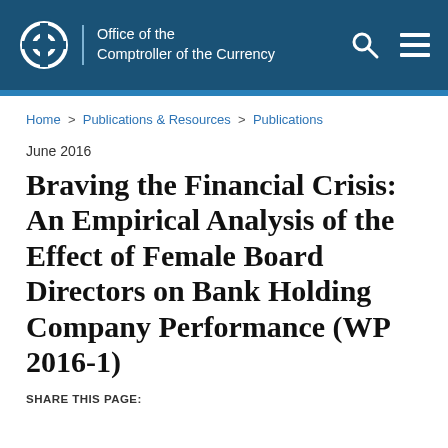Office of the Comptroller of the Currency
Home > Publications & Resources > Publications
June 2016
Braving the Financial Crisis: An Empirical Analysis of the Effect of Female Board Directors on Bank Holding Company Performance (WP 2016-1)
SHARE THIS PAGE: